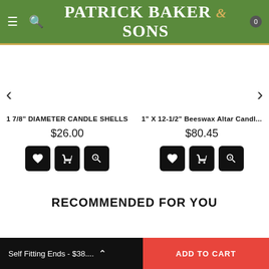[Figure (screenshot): Patrick Baker & Sons store header with green background, hamburger menu, search icon, logo, and cart badge showing 0]
1 7/8" DIAMETER CANDLE SHELLS
$26.00
1" X 12-1/2" Beeswax Altar Candl...
$80.45
RECOMMENDED FOR YOU
Self Fitting Ends - $38....
ADD TO CART